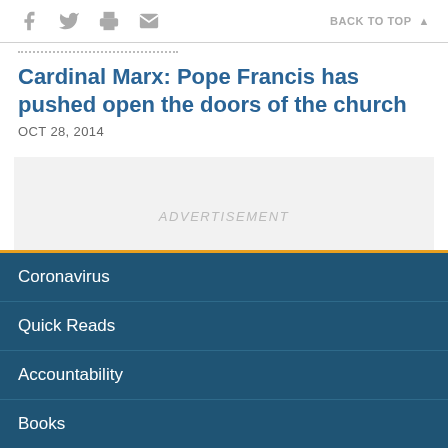Social share icons and BACK TO TOP navigation
Cardinal Marx: Pope Francis has pushed open the doors of the church
OCT 28, 2014
[Figure (other): Advertisement placeholder box]
Coronavirus
Quick Reads
Accountability
Books